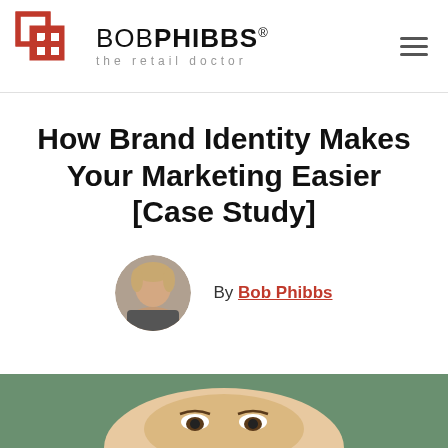[Figure (logo): BobPhibbs The Retail Doctor logo with red cross/plus icon and text]
How Brand Identity Makes Your Marketing Easier [Case Study]
By Bob Phibbs
[Figure (photo): Circular avatar photo of Bob Phibbs, a man facing the camera, used as author image]
[Figure (photo): Partial bottom strip showing a person's face/head, cropped at bottom of page]